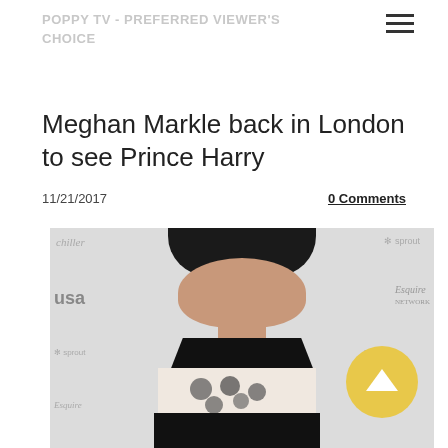POPPY TV - PREFERRED VIEWER'S CHOICE
Meghan Markle back in London to see Prince Harry
11/21/2017
0 Comments
[Figure (photo): Meghan Markle posing at a press event in front of a step-and-repeat banner featuring logos for Chiller, E!, sprout, USA, Esquire Network, and Oxygen. She is wearing a strapless black and white floral dress.]